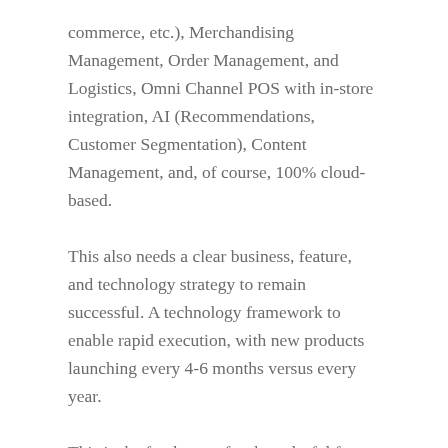commerce, etc.), Merchandising Management, Order Management, and Logistics, Omni Channel POS with in-store integration, AI (Recommendations, Customer Segmentation), Content Management, and, of course, 100% cloud-based.
This also needs a clear business, feature, and technology strategy to remain successful. A technology framework to enable rapid execution, with new products launching every 4-6 months versus every year.
This is the fundament for the colorful future we wish and it requires a team with strong capabilities in all of these elements! It is proven that outsourcing the top firms in the industry alone is not a magic bullet and